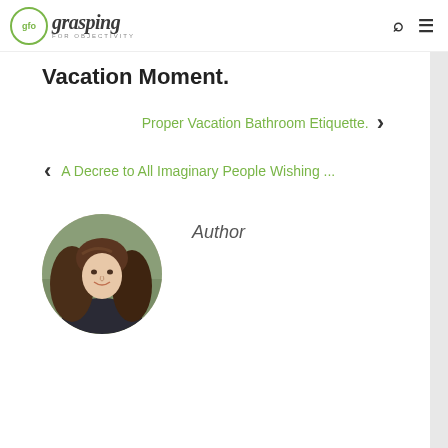glo grasping FOR OBJECTIVITY
Vacation Moment.
Proper Vacation Bathroom Etiquette. <
> A Decree to All Imaginary People Wishing ...
Author
[Figure (photo): Circular portrait photo of a woman with long brown hair, smiling, outdoors background]